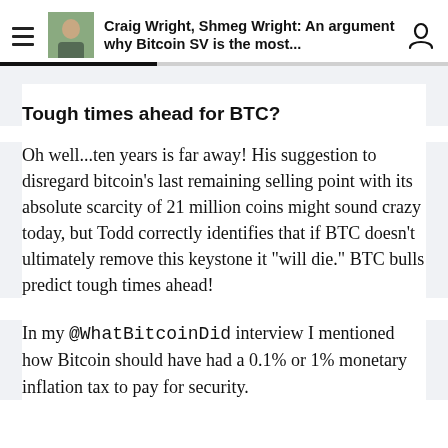Craig Wright, Shmeg Wright: An argument why Bitcoin SV is the most...
Tough times ahead for BTC?
Oh well...ten years is far away! His suggestion to disregard bitcoin's last remaining selling point with its absolute scarcity of 21 million coins might sound crazy today, but Todd correctly identifies that if BTC doesn't ultimately remove this keystone it "will die." BTC bulls predict tough times ahead!
In my @WhatBitcoinDid interview I mentioned how Bitcoin should have had a 0.1% or 1% monetary inflation tax to pay for security.